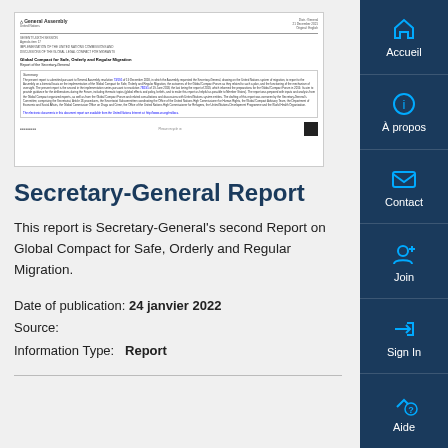[Figure (illustration): Thumbnail preview of a United Nations General Assembly document titled 'Global Compact for Safe, Orderly and Regular Migration - Report of the Secretary-General']
Secretary-General Report
This report is Secretary-General's second Report on Global Compact for Safe, Orderly and Regular Migration.
Date of publication: 24 janvier 2022
Source:
Information Type:  Report
[Figure (infographic): Right sidebar navigation with buttons: Accueil (home), À propos (about), Contact, Join, Sign In, Aide (help)]